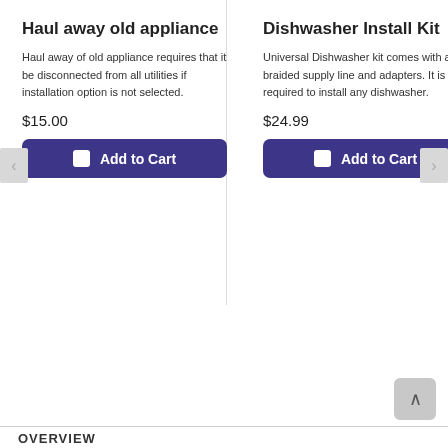Haul away old appliance
Haul away of old appliance requires that it be disconnected from all utilities if installation option is not selected.
$15.00
Add to Cart
Dishwasher Install Kit
Universal Dishwasher kit comes with a braided supply line and adapters. It is required to install any dishwasher.
$24.99
Add to Cart
OVERVIEW